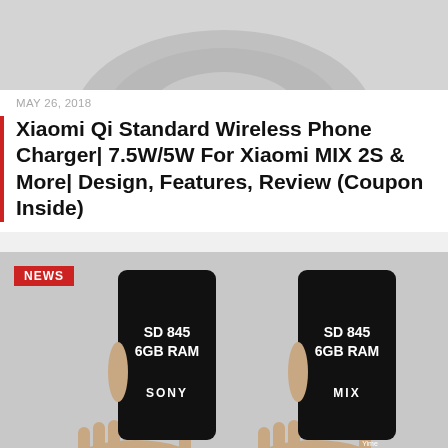[Figure (photo): Top portion of a circular wireless charger on a light gray background, partially cropped at the top of the card.]
MAY 26, 2018
Xiaomi Qi Standard Wireless Phone Charger| 7.5W/5W For Xiaomi MIX 2S & More| Design, Features, Review (Coupon Inside)
[Figure (photo): Two hands each holding a smartphone. Left phone shows 'SD 845 6GB RAM' and 'SONY' on the black screen. Right phone shows 'SD 845 6GB RAM' and 'MIX' on the black screen. A red NEWS badge appears in the top-left corner of the image.]
MAY 19, 2018